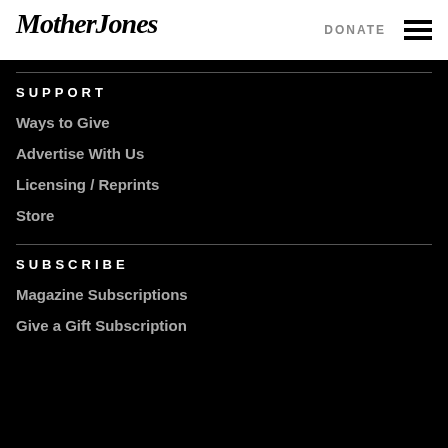Mother Jones | DONATE
SUPPORT
Ways to Give
Advertise With Us
Licensing / Reprints
Store
SUBSCRIBE
Magazine Subscriptions
Give a Gift Subscription